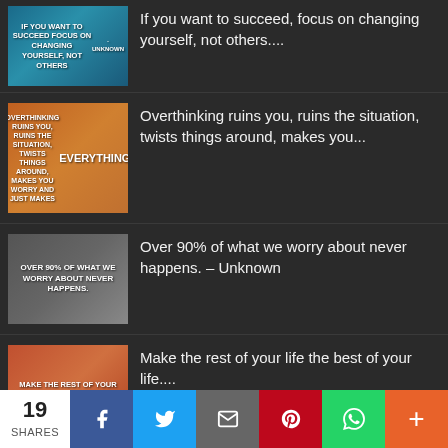If you want to succeed, focus on changing yourself, not others....
Overthinking ruins you, ruins the situation, twists things around, makes you...
Over 90% of what we worry about never happens. – Unknown
Make the rest of your life the best of your life....
If you do not try, your chance of success drops to...
19 SHARES